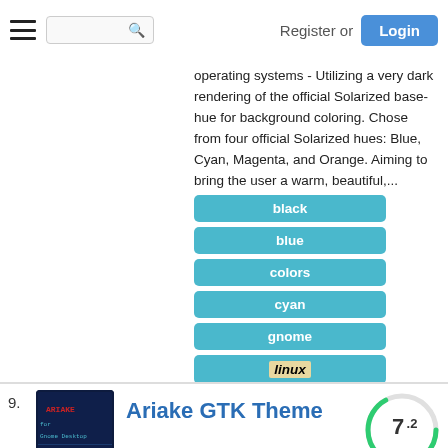Register or Login
operating systems - Utilizing a very dark rendering of the official Solarized base-hue for background coloring. Chose from four official Solarized hues: Blue, Cyan, Magenta, and Orange. Aiming to bring the user a warm, beautiful,...
black
blue
colors
cyan
gnome
linux
solarized
theme
unix
9.
[Figure (screenshot): Thumbnail image of Ariake GTK Theme showing dark blue terminal interface]
Ariake GTK Theme
[Figure (other): Score circle showing 7.2]
Oct 20 2020
GTK3/4 Themes   by fkorpsyart